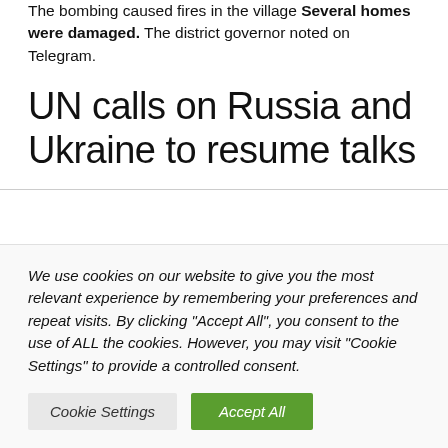The bombing caused fires in the village. Several homes were damaged. The district governor noted on Telegram.
UN calls on Russia and Ukraine to resume talks
We use cookies on our website to give you the most relevant experience by remembering your preferences and repeat visits. By clicking “Accept All”, you consent to the use of ALL the cookies. However, you may visit "Cookie Settings" to provide a controlled consent.